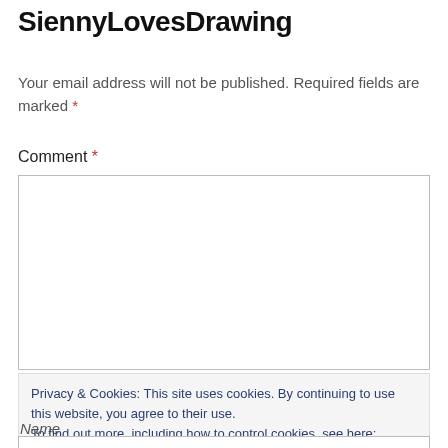SiennyLovesDrawing
Your email address will not be published. Required fields are marked *
Comment *
[Figure (other): Empty comment text area input box with border]
Privacy & Cookies: This site uses cookies. By continuing to use this website, you agree to their use.
To find out more, including how to control cookies, see here: Cookie Policy
Close and accept
Name